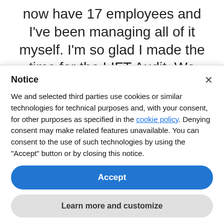now have 17 employees and I've been managing all of it myself. I'm so glad I made the time for the LIFT Audit. We uncovered the things I was doing right and how to add to that.
Notice
We and selected third parties use cookies or similar technologies for technical purposes and, with your consent, for other purposes as specified in the cookie policy. Denying consent may make related features unavailable. You can consent to the use of such technologies by using the "Accept" button or by closing this notice.
Accept
Learn more and customize